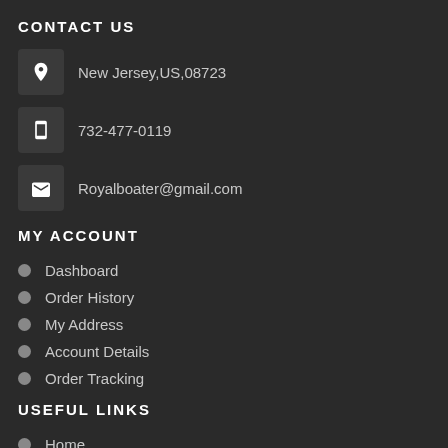CONTACT US
New Jersey,US,08723
732-477-0119
Royalboater@gmail.com
MY ACCOUNT
Dashboard
Order History
My Address
Account Details
Order Tracking
USEFUL LINKS
Home
About Us